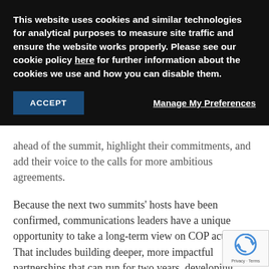This website uses cookies and similar technologies for analytical purposes to measure site traffic and ensure the website works properly. Please see our cookie policy here for further information about the cookies we use and how you can disable them.
ACCEPT
Manage My Preferences
ahead of the summit, highlight their commitments, and add their voice to the calls for more ambitious agreements.
Because the next two summits' hosts have been confirmed, communications leaders have a unique opportunity to take a long-term view on COP activity. That includes building deeper, more impactful partnerships that can run for two years, developing programmes that can be measured in 2022 and 2023, and conducting more sustained engagement with stakeholders to avoid a crowded on-the-ground COP environment.